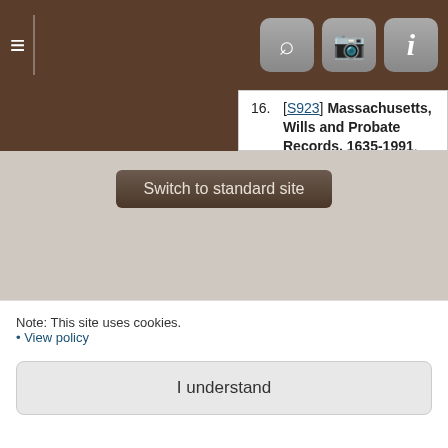[Figure (screenshot): Mobile app navigation bar with hamburger menu icon, search icon, camera icon, and info icon on a dark brown background]
16. [S923] Massachusetts, Wills and Probate Records, 1635-1991, (Ancestry.com Operations, Inc., 2015), Probate Records of Luke Delvey.
17. [S800] Massachusetts, U.S., Town and Vital Records, 1620-1988, (Provo, Utah: Ancestry.com Operations, Inc., 2011), Marriage Record of Addie Spear and Luke Delvey.
18. [S52] Muse, Jeanne. Delvey Family Group Sheets, (Asheville, North Carolina: manuscript, 20 August 1995).
19. [S1079] Obituary of Luke Delvey, (Springfield, Massachusetts: Springfield Republican, 7 January 1915, Page 11).
Switch to standard site
Note: This site uses cookies.
• View policy
I understand